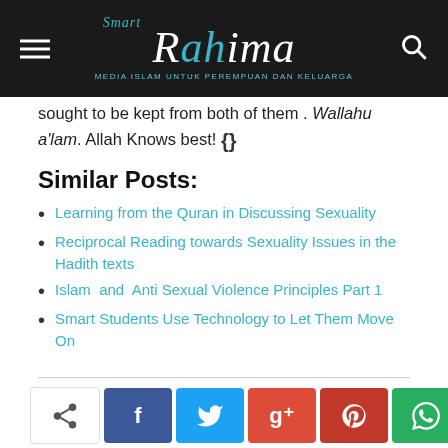Smart Rahima — website header with navigation
sought to be kept from both of them . Wallahu a'lam. Allah Knows best! {}
Similar Posts:
Learning from the Quran in Discussing Sexuality
Reciprocal Reading towards Sexuality Issues in the Hadith texts
Islam  and  Anti Sexual Violence Principles Part 1
Smart Students Use Technology to Let Them Move On
Emulate the Prophet in the Elimination on Violence Against Women (VAW)
Share buttons: native share, Facebook, Twitter, Google+, Pinterest, WhatsApp